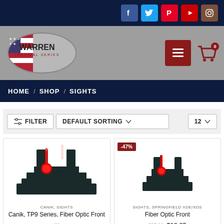Warren Tactical Series - Social bar with Facebook, Twitter, Pinterest, YouTube, Instagram icons
[Figure (logo): Warren Tactical Series logo - oval shape with American flag and brand name]
HOME / SHOP / SIGHTS
FILTER   DEFAULT SORTING ∨   12 ∨
[Figure (photo): Canik TP9 Series Fiber Optic Front sight product photo]
CANIK, SIGHTS
Canik, TP9 Series, Fiber Optic Front ...
$29.95
[Figure (photo): Fiber Optic Front sight product photo with -47% sale badge]
SIGHTS, SPRINGFIELD XDE/XDS
Fiber Optic Front
$27.99  $10.95